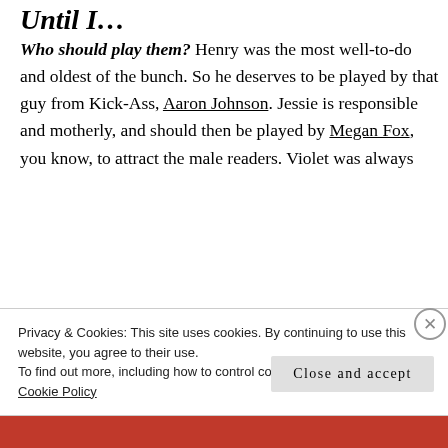Until I…
Who should play them? Henry was the most well-to-do and oldest of the bunch. So he deserves to be played by that guy from Kick-Ass, Aaron Johnson. Jessie is responsible and motherly, and should then be played by Megan Fox, you know, to attract the male readers. Violet was always
Privacy & Cookies: This site uses cookies. By continuing to use this website, you agree to their use.
To find out more, including how to control cookies, see here:
Cookie Policy
Close and accept